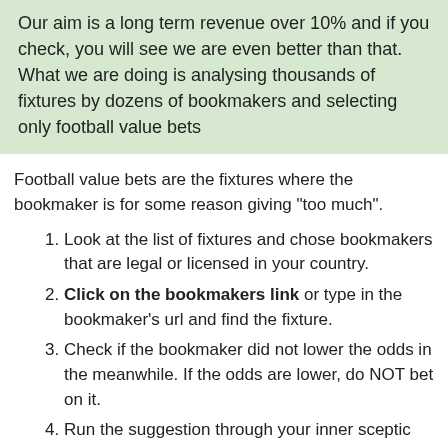Our aim is a long term revenue over 10% and if you check, you will see we are even better than that. What we are doing is analysing thousands of fixtures by dozens of bookmakers and selecting only football value bets
Football value bets are the fixtures where the bookmaker is for some reason giving "too much".
1. Look at the list of fixtures and chose bookmakers that are legal or licensed in your country.
2. Click on the bookmakers link or type in the bookmaker's url and find the fixture.
3. Check if the bookmaker did not lower the odds in the meanwhile. If the odds are lower, do NOT bet on it.
4. Run the suggestion through your inner sceptic and consider if betting on it is a good idea.
5. Make sure to start out small.
Football value bets shown on this page are based on the fact that every now and then a bookmaker gives odds that are much higher compared to the competition, and this is what we are showing. Make sure to check football predictions that